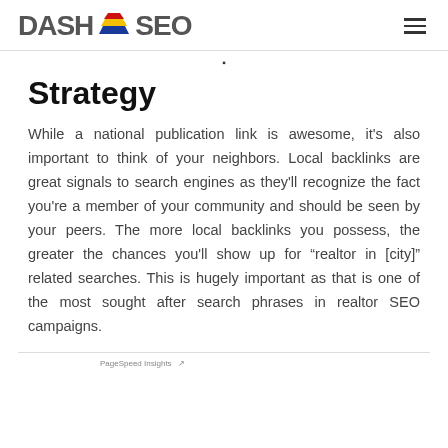DASH SEO
Strategy
While a national publication link is awesome, it's also important to think of your neighbors. Local backlinks are great signals to search engines as they'll recognize the fact you're a member of your community and should be seen by your peers. The more local backlinks you possess, the greater the chances you'll show up for “realtor in [city]” related searches. This is hugely important as that is one of the most sought after search phrases in realtor SEO campaigns.
PageSpeed Insights